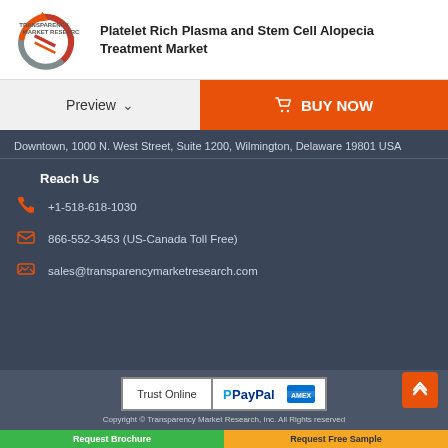[Figure (logo): Transparency Market Research logo with circular arrow graphic in orange/red and grey]
Platelet Rich Plasma and Stem Cell Alopecia Treatment Market
Preview
BUY NOW
Downtown, 1000 N. West Street, Suite 1200, Wilmington, Delaware 19801 USA
Reach Us
+1-518-618-1030
866-552-3453 (US-Canada Toll Free)
sales@transparencymarketresearch.com
[Figure (logo): Trust Online badge with PayPal and American Express logos]
Copyright © Transparency Market Research, Inc. All Rights reserved
Request Brochure
Request Free Sample